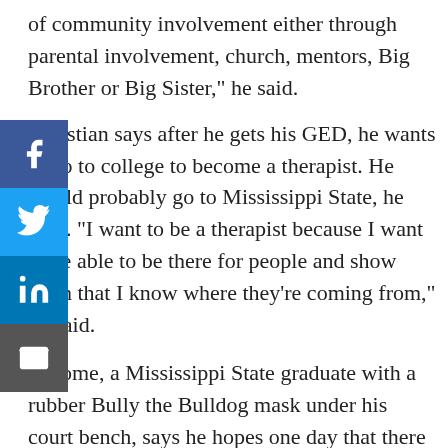of community involvement either through parental involvement, church, mentors, Big Brother or Big Sister," he said.
Christian says after he gets his GED, he wants to go to college to become a therapist. He would probably go to Mississippi State, he says. "I want to be a therapist because I want to be able to be there for people and show them that I know where they're coming from," he said.
Broome, a Mississippi State graduate with a rubber Bully the Bulldog mask under his court bench, says he hopes one day that there will be no need for his job.
"My goal is to be like the Maytag man," Broome said. "Bored."